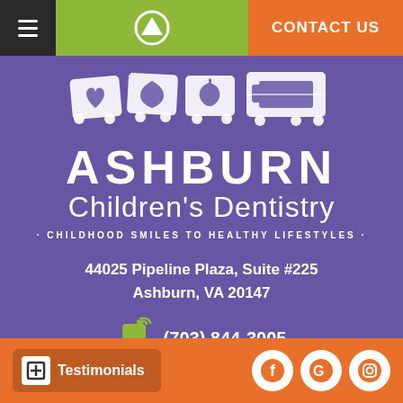CONTACT US
[Figure (logo): Ashburn Children's Dentistry logo with white illustrated train cars carrying icons (heart, flower/leaf, apple, gift box) and the business name ASHBURN Children's Dentistry with tagline CHILDHOOD SMILES TO HEALTHY LIFESTYLES]
44025 Pipeline Plaza, Suite #225
Ashburn, VA 20147
(703) 844-3005
Testimonials
[Figure (logo): Social media icons: Facebook (f), Google (G), Instagram camera icon — white icons on orange circular backgrounds]